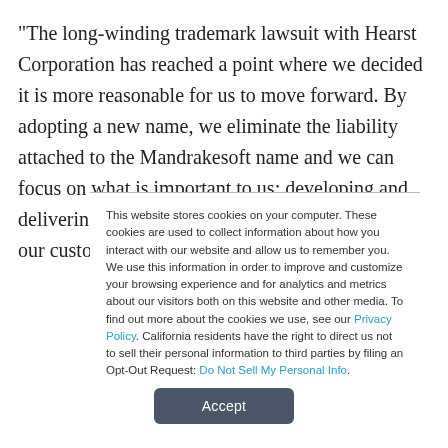“The long-winding trademark lawsuit with Hearst Corporation has reached a point where we decided it is more reasonable for us to move forward. By adopting a new name, we eliminate the liability attached to the Mandrakesoft name and we can focus on what is important to us: developing and delivering great technology and solutions to both our customers and our
This website stores cookies on your computer. These cookies are used to collect information about how you interact with our website and allow us to remember you. We use this information in order to improve and customize your browsing experience and for analytics and metrics about our visitors both on this website and other media. To find out more about the cookies we use, see our Privacy Policy. California residents have the right to direct us not to sell their personal information to third parties by filing an Opt-Out Request: Do Not Sell My Personal Info.
Accept